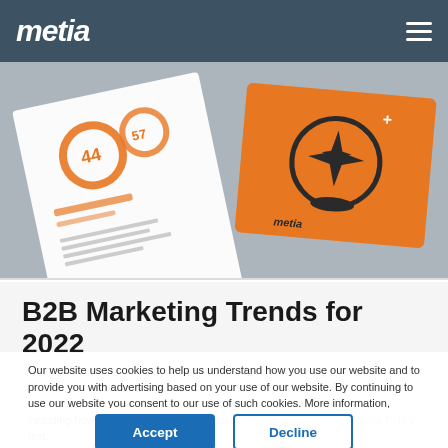metia
[Figure (illustration): Marketing materials mockup: a white document with orange circular charts and statistics, and an orange booklet with a crystal ball/star icon and the metia logo]
B2B Marketing Trends for 2022
Our website uses cookies to help us understand how you use our website and to provide you with advertising based on your use of our website. By continuing to use our website you consent to our use of such cookies. More information, including how you can disable these cookies, can be found in our Cookie Policy text.
Accept
Decline